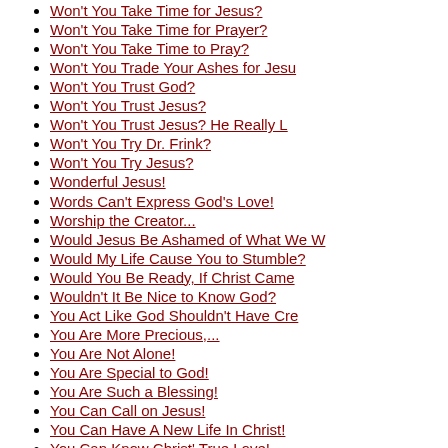Won't You Take Time for God?
Won't You Take Time for Jesus?
Won't You Take Time for Prayer?
Won't You Take Time to Pray?
Won't You Trade Your Ashes for Jesu
Won't You Trust God?
Won't You Trust Jesus?
Won't You Trust Jesus? He Really L
Won't You Try Dr. Frink?
Won't You Try Jesus?
Wonderful Jesus!
Words Can't Express God's Love!
Worship the Creator...
Would Jesus Be Ashamed of What We W
Would My Life Cause You to Stumble?
Would You Be Ready, If Christ Came
Wouldn't It Be Nice to Know God?
You Act Like God Shouldn't Have Cre
You Are More Precious,...
You Are Not Alone!
You Are Special to God!
You Are Such a Blessing!
You Can Call on Jesus!
You Can Have A New Life In Christ!
You Can Know Christ' True Love!
You Can Know God Today!
You Can Never Fool God!
You Can Put Your Trust in Jesus!
You Can't Make Love!
You Can't Take Away...